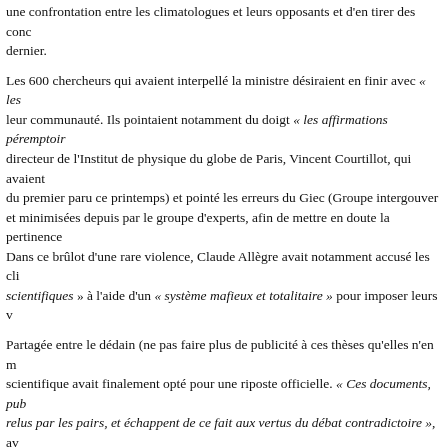une confrontation entre les climatologues et leurs opposants et d'en tirer des conc dernier.
Les 600 chercheurs qui avaient interpellé la ministre désiraient en finir avec « les leur communauté. Ils pointaient notamment du doigt « les affirmations péremptoir directeur de l'Institut de physique du globe de Paris, Vincent Courtillot, qui avaient du premier paru ce printemps) et pointé les erreurs du Giec (Groupe intergouvernem et minimisées depuis par le groupe d'experts, afin de mettre en doute la pertinence Dans ce brûlot d'une rare violence, Claude Allègre avait notamment accusé les cli scientifiques » à l'aide d'un « système mafieux et totalitaire » pour imposer leurs v
Partagée entre le dédain (ne pas faire plus de publicité à ces thèses qu'elles n'en m scientifique avait finalement opté pour une riposte officielle. « Ces documents, pub relus par les pairs, et échappent de ce fait aux vertus du débat contradictoire », av ministre l'organisation d'une confrontation « sereine et approfondie ».
Quarante-deux orateurs, disposant de sept minutes et cinq diapos chacun pour s'ex 20 septembre, afin d'exposer l'état des connaissances et des incertitudes sur le réch l'ensemble des disciplines : climatologie mais aussi mathématiques, physique, méc sciences médicales. Conclusion des experts : « Le réchauffement de la planète s'es l'augmentation de la concentration du CO2 dans l'atmosphère », résume Jean-Lou cycle solaire peut avoir joué un rôle dans le réchauffement observé, mais si tel est être que mineur, contrairement à ce que défendent les climato-sceptiques.
« Ce document réaffirme clairement les grandes conclusions du Giec », se félicite constituer le point de départ d'une réflexion nationale pour rétablir la confiance e nouvelle dynamique au Grenelle de l'environnement. »
Valérie Pécresse a promis hier des moyens : « Les investissements d'avenir sont un sur le changement climatique, et ce rapport sera un outil de pilotage de nos choix